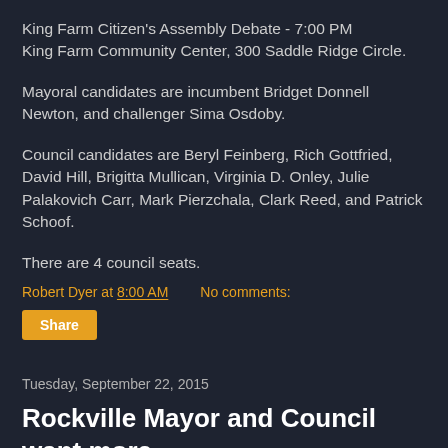King Farm Citizen's Assembly Debate - 7:00 PM King Farm Community Center, 300 Saddle Ridge Circle.
Mayoral candidates are incumbent Bridget Donnell Newton, and challenger Sima Osdoby.
Council candidates are Beryl Feinberg, Rich Gottfried, David Hill, Brigitta Mullican, Virginia D. Onley, Julie Palakovich Carr, Mark Pierzchala, Clark Reed, and Patrick Schoof.
There are 4 council seats.
Robert Dyer at 8:00 AM    No comments:
Share
Tuesday, September 22, 2015
Rockville Mayor and Council want more comprehensive proposal on outdoor